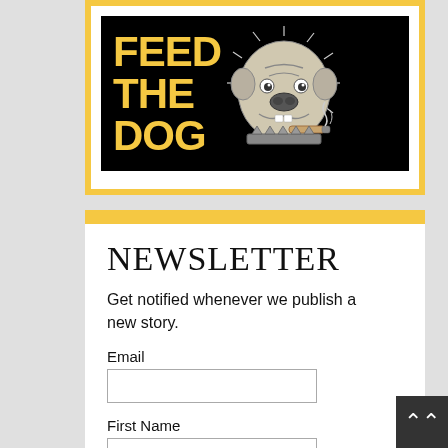[Figure (logo): Feed the Dog logo: black background with yellow bold text 'FEED THE DOG' on the left and a bulldog illustration on the right]
NEWSLETTER
Get notified whenever we publish a new story.
Email
First Name
Last Name